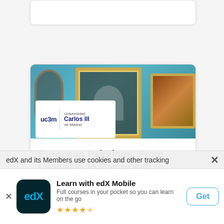[Figure (screenshot): Partial top of a course card (white rounded rectangle, partially visible)]
[Figure (screenshot): Course card for 'European Paintings: From Leonardo to Rembrandt to Goya' from UC3Mx on edX. Shows a header image with painting frames on a teal background, a Universidad Carlos III de Madrid logo overlay, course title in bold, and provider name UC3Mx.]
European Paintings: From Leonardo to Rembrandt to Goya
UC3Mx
edX and its Members use cookies and other tracking
Learn with edX Mobile
Full courses in your pocket so you can learn on the go
Get